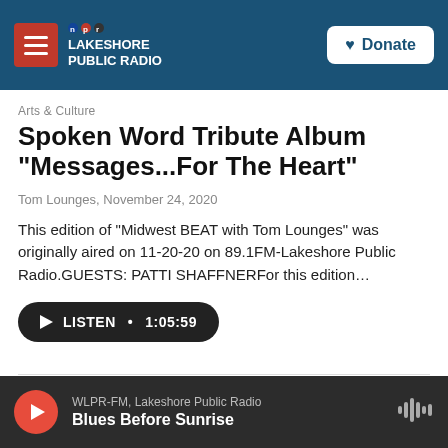NPR LAKESHORE PUBLIC RADIO | Donate
Arts & Culture
Spoken Word Tribute Album "Messages...For The Heart"
Tom Lounges, November 24, 2020
This edition of "Midwest BEAT with Tom Lounges" was originally aired on 11-20-20 on 89.1FM-Lakeshore Public Radio.GUESTS: PATTI SHAFFNERFor this edition...
LISTEN • 1:05:59
WLPR-FM, Lakeshore Public Radio | Blues Before Sunrise